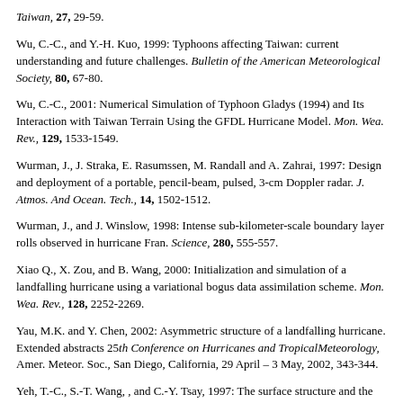Taiwan, 27, 29-59.
Wu, C.-C., and Y.-H. Kuo, 1999: Typhoons affecting Taiwan: current understanding and future challenges. Bulletin of the American Meteorological Society, 80, 67-80.
Wu, C.-C., 2001: Numerical Simulation of Typhoon Gladys (1994) and Its Interaction with Taiwan Terrain Using the GFDL Hurricane Model. Mon. Wea. Rev., 129, 1533-1549.
Wurman, J., J. Straka, E. Rasumssen, M. Randall and A. Zahrai, 1997: Design and deployment of a portable, pencil-beam, pulsed, 3-cm Doppler radar. J. Atmos. And Ocean. Tech., 14, 1502-1512.
Wurman, J., and J. Winslow, 1998: Intense sub-kilometer-scale boundary layer rolls observed in hurricane Fran. Science, 280, 555-557.
Xiao Q., X. Zou, and B. Wang, 2000: Initialization and simulation of a landfalling hurricane using a variational bogus data assimilation scheme. Mon. Wea. Rev., 128, 2252-2269.
Yau, M.K. and Y. Chen, 2002: Asymmetric structure of a landfalling hurricane. Extended abstracts 25th Conference on Hurricanes and TropicalMeteorology, Amer. Meteor. Soc., San Diego, California, 29 April – 3 May, 2002, 343-344.
Yeh, T.-C., S.-T. Wang, , and C.-Y. Tsay, 1997: The surface structure and the movement of Typhoon Louise (1959) over Taiwan area. Atmospheric Sciences, Taiwan, 25, 123-146.